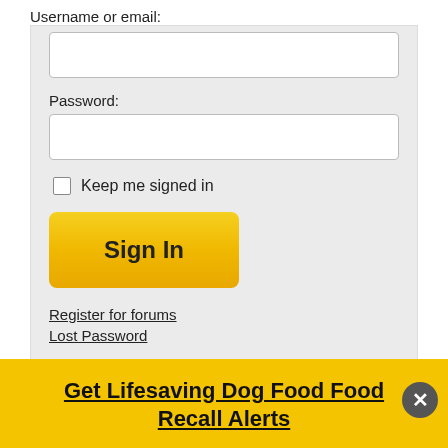Username or email:
Password:
Keep me signed in
Sign In
Register for forums
Lost Password
COMMENTING POLICY
Forum Commenting Policy
Please Be Sure to Read
Get Lifesaving Dog Food Recall Alerts